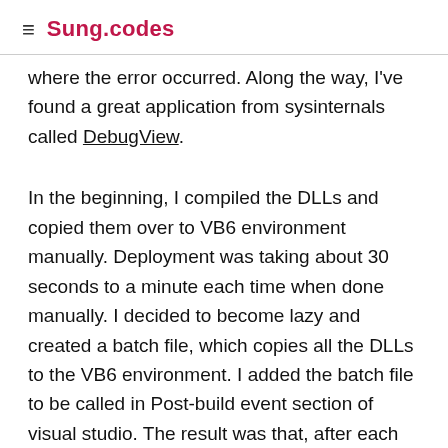≡ Sung.codes
where the error occurred. Along the way, I've found a great application from sysinternals called DebugView.
In the beginning, I compiled the DLLs and copied them over to VB6 environment manually. Deployment was taking about 30 seconds to a minute each time when done manually. I decided to become lazy and created a batch file, which copies all the DLLs to the VB6 environment. I added the batch file to be called in Post-build event section of visual studio. The result was that, after each build, all DLLs were deployed to the VB6 environment automatically saving me 30~60 seconds each time I had to test a new